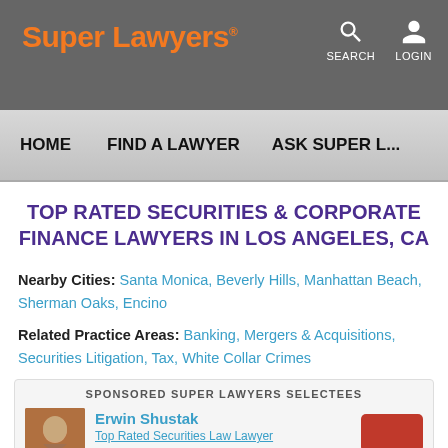Super Lawyers
SEARCH LOGIN
HOME   FIND A LAWYER   ASK SUPER L...
TOP RATED SECURITIES & CORPORATE FINANCE LAWYERS IN LOS ANGELES, CA
Nearby Cities:  Santa Monica, Beverly Hills, Manhattan Beach, Sherman Oaks, Encino
Related Practice Areas:  Banking, Mergers & Acquisitions, Securities Litigation, Tax, White Collar Crimes
SPONSORED SUPER LAWYERS SELECTEES
Erwin Shustak
Top Rated Securities Law Lawyer